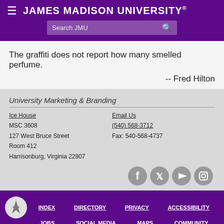JAMES MADISON UNIVERSITY
The graffiti does not report how many smelled perfume.
-- Fred Hilton
University Marketing & Branding
Ice House
MSC 3608
127 West Bruce Street
Room 412
Harrisonburg, Virginia 22807
Email Us
(540) 568-3712
Fax: 540-568-4737
[Figure (infographic): Social media icons: Facebook, Twitter, YouTube, Instagram]
INDEX  DIRECTORY  PRIVACY  ACCESSIBILITY  JOBS  SOCIAL MEDIA  MAPS  COMMUNITY